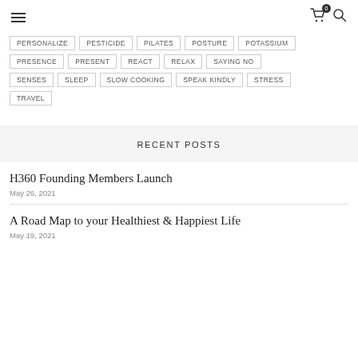≡  🛒 0  🔍
PERSONALIZE
PESTICIDE
PILATES
POSTURE
POTASSIUM
PRESENCE
PRESENT
REACT
RELAX
SAYING NO
SENSES
SLEEP
SLOW COOKING
SPEAK KINDLY
STRESS
TRAVEL
RECENT POSTS
H360 Founding Members Launch
May 26, 2021
A Road Map to your Healthiest & Happiest Life
May 19, 2021